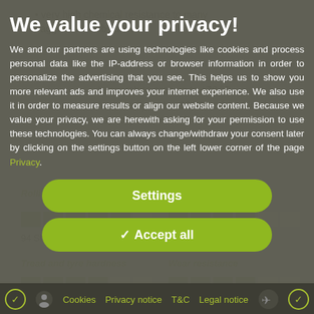[Figure (screenshot): Background product page (greyed out) showing rubber/conveyor belt product specifications with bullet points about chemical resistance, temperature range, rolling resistance, operating noise/floor surface preservation, tread and tyre hardness (94 Shore A), and wear resistance rating bars.]
We value your privacy!
We and our partners are using technologies like cookies and process personal data like the IP-address or browser information in order to personalize the advertising that you see. This helps us to show you more relevant ads and improves your internet experience. We also use it in order to measure results or align our website content. Because we value your privacy, we are herewith asking for your permission to use these technologies. You can always change/withdraw your consent later by clicking on the settings button on the left lower corner of the page Privacy.
Settings
Accept all
Cookies  Privacy notice  T&C  Legal notice